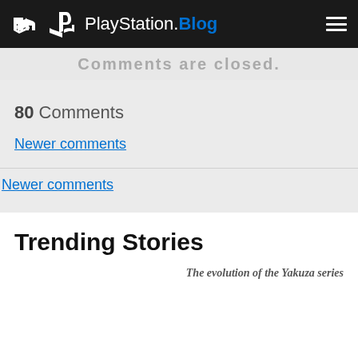PlayStation.Blog
Comments are closed.
80 Comments
Newer comments
Newer comments
Trending Stories
The evolution of the Yakuza series